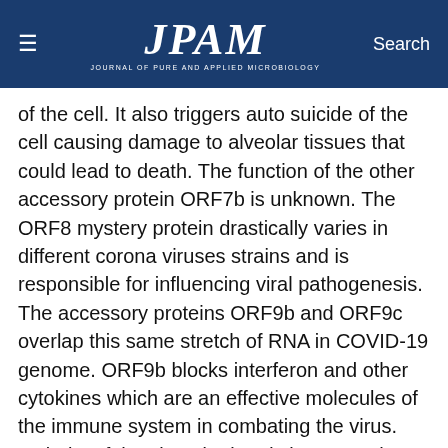≡  JPAM  Search
of the cell. It also triggers auto suicide of the cell causing damage to alveolar tissues that could lead to death. The function of the other accessory protein ORF7b is unknown. The ORF8 mystery protein drastically varies in different corona viruses strains and is responsible for influencing viral pathogenesis. The accessory proteins ORF9b and ORF9c overlap this same stretch of RNA in COVID-19 genome. ORF9b blocks interferon and other cytokines which are an effective molecules of the immune system in combating the virus. Majority of the closed related viruses such as SARS/ MARS do not encode the genes for this protein, thus causing the protein to facilitate the infection of COVID-19.